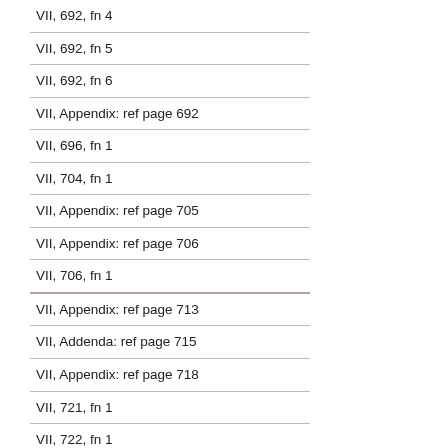VII, 692, fn 4
VII, 692, fn 5
VII, 692, fn 6
VII, Appendix: ref page 692
VII, 696, fn 1
VII, 704, fn 1
VII, Appendix: ref page 705
VII, Appendix: ref page 706
VII, 706, fn 1
VII, Appendix: ref page 713
VII, Addenda: ref page 715
VII, Appendix: ref page 718
VII, 721, fn 1
VII, 722, fn 1
VII, 724, fn 1
VII, 725, fn 5
VII, 735, fn 1
VII, 737, fn 1